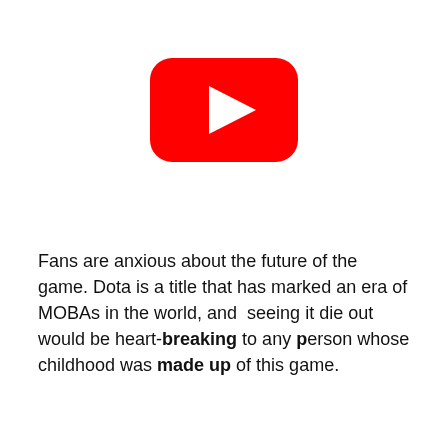[Figure (logo): YouTube play button logo — red rounded rectangle with white triangle play icon in center]
Fans are anxious about the future of the game. Dota is a title that has marked an era of MOBAs in the world, and  seeing it die out would be heart-breaking to any person whose childhood was made up of this game.